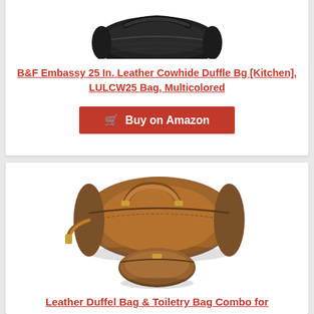[Figure (photo): Black leather cowhide duffle bag product photo, partially cropped at top]
B&F Embassy 25 In. Leather Cowhide Duffle Bg [Kitchen], LULCW25 Bag, Multicolored
Buy on Amazon
[Figure (photo): Brown leather duffel bag and toiletry bag combo product photo on white background]
Leather Duffel Bag & Toiletry Bag Combo for